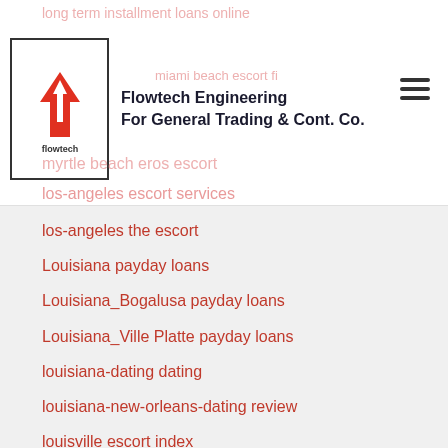Flowtech Engineering For General Trading & Cont. Co.
long term installment loans online
los-angeles escort services
los-angeles the escort
Louisiana payday loans
Louisiana_Bogalusa payday loans
Louisiana_Ville Platte payday loans
louisiana-dating dating
louisiana-new-orleans-dating review
louisville escort index
love ru gratis
love ru review
love-ru-overzicht Dating
loveagain avis